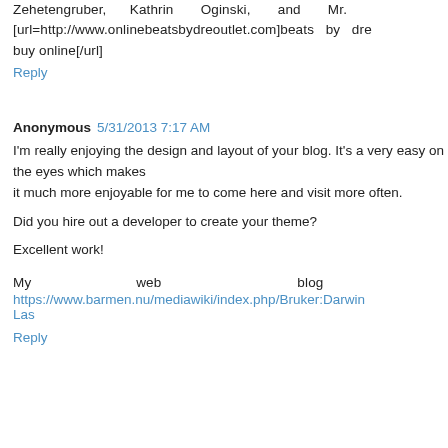Zehetengruber, Kathrin Oginski, and Mr. [url=http://www.onlinebeatsbydreoutlet.com]beats by dre buy online[/url]
Reply
Anonymous 5/31/2013 7:17 AM
I'm really enjoying the design and layout of your blog. It's a very easy on the eyes which makes it much more enjoyable for me to come here and visit more often.
Did you hire out a developer to create your theme?
Excellent work!
My web blog https://www.barmen.nu/mediawiki/index.php/Bruker:DarwinLas
Reply